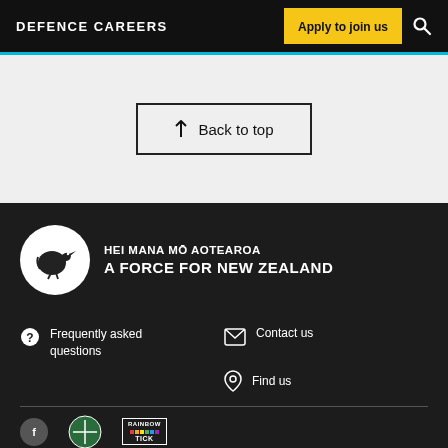DEFENCE CAREERS | Apply to join us
↑ Back to top
[Figure (logo): Kiwi bird in white circle with text HEI MANA MŌ AOTEAROA A FORCE FOR NEW ZEALAND]
Frequently asked questions
Contact us
Find us
[Figure (logo): Green and white circular logo]
[Figure (logo): Rainbow Tick logo with coloured stripes]